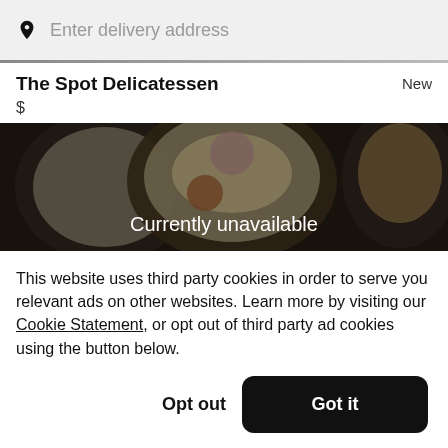Enter delivery address
The Spot Delicatessen
$
New
[Figure (photo): Overhead shot of food dishes on dark table, showing plates with deli food items, with a dark overlay and 'Currently unavailable' text overlay]
This website uses third party cookies in order to serve you relevant ads on other websites. Learn more by visiting our Cookie Statement, or opt out of third party ad cookies using the button below.
Opt out
Got it